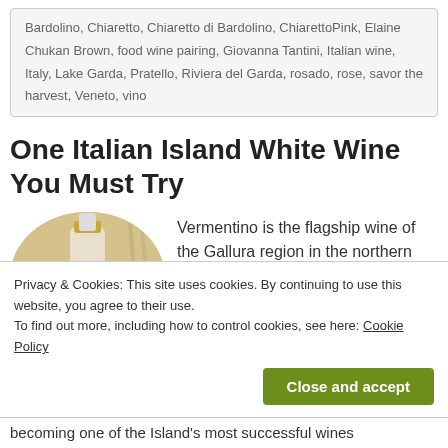Bardolino, Chiaretto, Chiaretto di Bardolino, ChiarettoPink, Elaine Chukan Brown, food wine pairing, Giovanna Tantini, Italian wine, Italy, Lake Garda, Pratello, Riviera del Garda, rosado, rose, savor the harvest, Veneto, vino
One Italian Island White Wine You Must Try
[Figure (photo): Circular cropped image of a wine bottle labeled CANAYLI with a white label and gold foil]
Vermentino is the flagship wine of the Gallura region in the northern part of
Privacy & Cookies: This site uses cookies. By continuing to use this website, you agree to their use.
To find out more, including how to control cookies, see here: Cookie Policy
becoming one of the Island's most successful wines